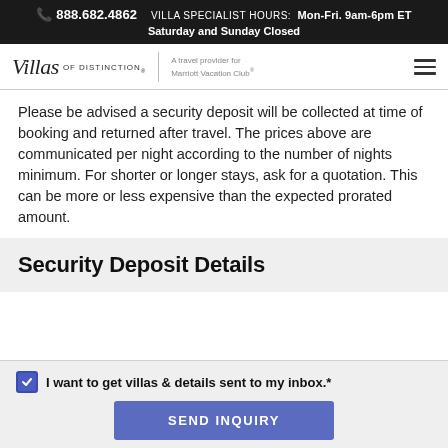📞 888.682.4862  VILLA SPECIALIST HOURS: Mon-Fri. 9am-6pm ET
Saturday and Sunday Closed
[Figure (logo): Villas of Distinction logo with tagline 'A travel provider for Marriott Vacation Club']
Please be advised a security deposit will be collected at time of booking and returned after travel. The prices above are communicated per night according to the number of nights minimum. For shorter or longer stays, ask for a quotation. This can be more or less expensive than the expected prorated amount.
Security Deposit Details
I want to get villas & details sent to my inbox.*